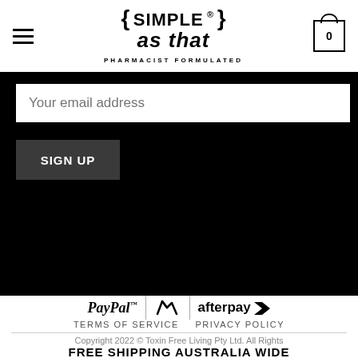[Figure (logo): Simple as that – Pharmacist Formulated logo with curly braces]
Your email address
SIGN UP
[Figure (logo): PayPal, Stripe, and Afterpay payment method logos]
TERMS OF SERVICE   PRIVACY POLICY
Copyright 2022 © Toxin Free Living Pty Ltd. All Rights
FREE SHIPPING AUSTRALIA WIDE